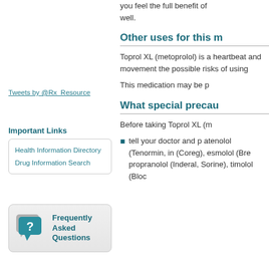you feel the full benefit of well.
Tweets by @Rx_Resource
Important Links
Health Information Directory
Drug Information Search
[Figure (infographic): Frequently Asked Questions button with speech bubble icon containing a question mark]
Other uses for this m
Toprol XL (metoprolol) is a heartbeat and movement the possible risks of using
This medication may be p
What special precau
Before taking Toprol XL (m
tell your doctor and p atenolol (Tenormin, in (Coreg), esmolol (Bre propranolol (Inderal, Sorine), timolol (Bloc